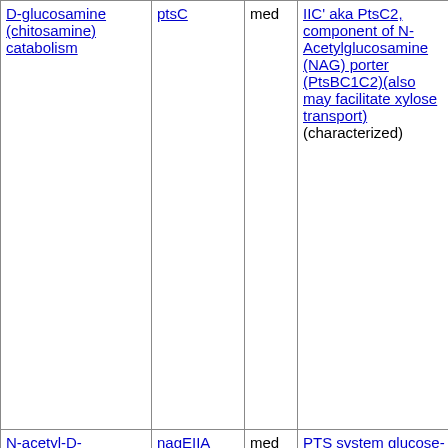| Pathway | Gene | Confidence | Description | Col5 | Col6 | Col7 |
| --- | --- | --- | --- | --- | --- | --- |
| D-glucosamine (chitosamine) catabolism | ptsC | med | IIC' aka PtsC2, component of N-Acetylglucosamine (NAG) porter (PtsBC1C2)(also may facilitate xylose transport) (characterized) | 50% | 97% | 38 |
| N-acetyl-D-glucosamine catabolism | nagEIIA | med | PTS system glucose-specific EIICBA component; EC 2.7.1.-; EC 2.7.1.69 (characterized) | 41% | 76% | 37 |
| D-cellobiose catabolism | ptsG-crr | med | PTS system glucose-specific EIICBA component; EC 2.7.1.-; EC ... | 41% | 76% | 37 |